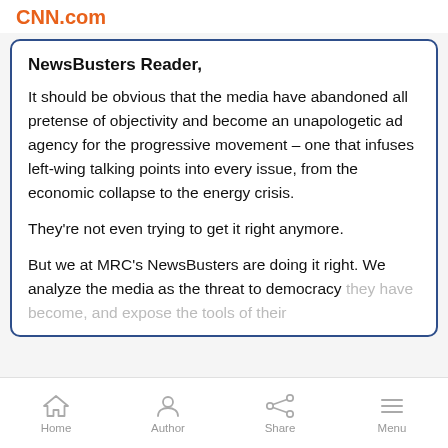CNN.com
NewsBusters Reader,

It should be obvious that the media have abandoned all pretense of objectivity and become an unapologetic ad agency for the progressive movement – one that infuses left-wing talking points into every issue, from the economic collapse to the energy crisis.

They're not even trying to get it right anymore.

But we at MRC's NewsBusters are doing it right. We analyze the media as the threat to democracy they have become, and expose the tools of their…
Home  Author  Share  Menu